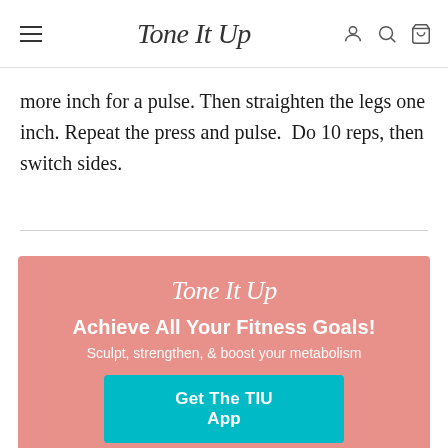Tone It Up
more inch for a pulse. Then straighten the legs one inch. Repeat the press and pulse.  Do 10 reps, then switch sides.
[Figure (infographic): Tone It Up promotional banner with pink background. Shows Tone It Up logo in white script, headline 'Achieve All Your Fitness Goals!', subtext 'Sculpt, strengthen, & boost your metabolism', a teal 'Get The TIU App' button, and phone mockups at the bottom.]